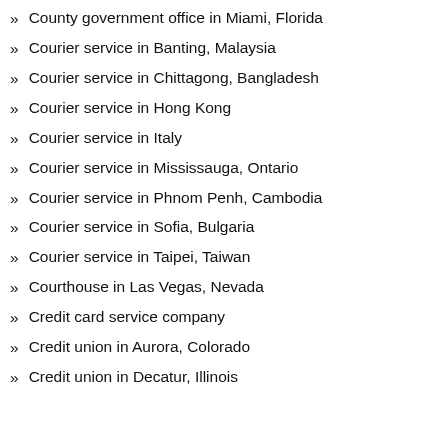County government office in Miami, Florida
Courier service in Banting, Malaysia
Courier service in Chittagong, Bangladesh
Courier service in Hong Kong
Courier service in Italy
Courier service in Mississauga, Ontario
Courier service in Phnom Penh, Cambodia
Courier service in Sofia, Bulgaria
Courier service in Taipei, Taiwan
Courthouse in Las Vegas, Nevada
Credit card service company
Credit union in Aurora, Colorado
Credit union in Decatur, Illinois